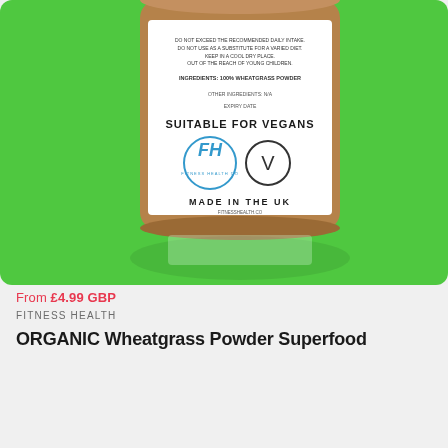[Figure (photo): A kraft brown cylindrical supplement container with a white label showing 'SUITABLE FOR VEGANS', fitness health brand logo, vegan symbol, 'MADE IN THE UK', and other product information, photographed against a bright green background.]
From £4.99 GBP
FITNESS HEALTH
ORGANIC Wheatgrass Powder Superfood